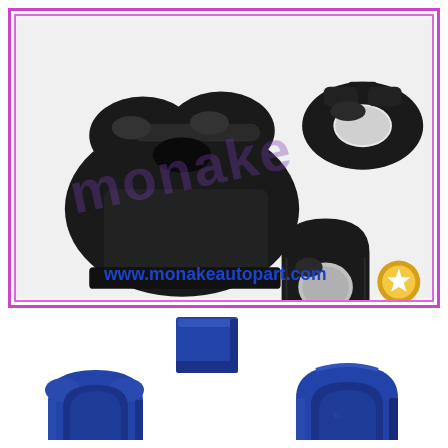[Figure (photo): Product photo of black rubber sway bar bushings / stabilizer bar bushings, three pieces shown, with 'MONAKE' watermark text overlaid in purple/violet letters, and website URL www.monakeautopart.com in blue text at bottom, with a gold award badge logo at bottom right. Framed with purple/pink double border.]
[Figure (photo): Product photo of blue polyurethane sway bar bushings / stabilizer bar bushings, four pieces shown (one square block at top center, two U-shaped pieces at bottom left and right, and one smaller piece) on white background.]